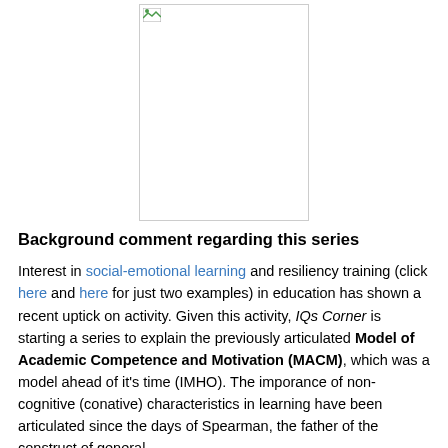[Figure (photo): A portrait/image placeholder box with a small broken image icon in the top-left corner]
Background comment regarding this series
Interest in social-emotional learning and resiliency training (click here and here for just two examples) in education has shown a recent uptick on activity. Given this activity, IQs Corner is starting a series to explain the previously articulated Model of Academic Competence and Motivation (MACM), which was a model ahead of it's time (IMHO). The imporance of non-cognitive (conative) characteristics in learning have been articulated since the days of Spearman, the father of the construct of general intelligence. Richard Snow also drew attention to ...